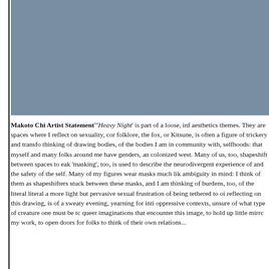[Figure (photo): A large grayish-blue rectangular image area occupying the upper portion of the page, appearing to be an artwork or photograph with a muted steel-blue color.]
Makoto Chi Artist Statement"'Heavy Night' is part of a loose, inf aesthetics themes. They are spaces where I reflect on sexuality, cor folklore, the fox, or Kitsune, is often a figure of trickery and transfo thinking of drawing bodies, of the bodies I am in community with, selfhoods: that myself and many folks around me have genders, an colonized west. Many of us, too, shapeshift between spaces to eak 'masking', too, is used to describe the neurodivergent experience of and the safety of the self. Many of my figures wear masks much lik ambiguity in mind: I think of them as shapeshifters stuck between these masks, and I am thinking of burdens, too, of the literal literal a more light but pervasive sexual frustration of being tethered to oi reflecting on this drawing, is of a sweaty evening, yearning for inti oppressive contexts, unsure of what type of creature one must be tc queer imaginations that encounter this image, to hold up little mirrc my work, to open doors for folks to think of their own relations...